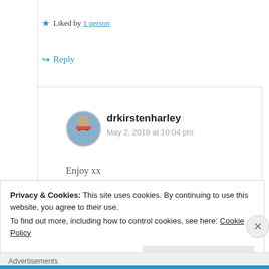★ Liked by 1 person
↪ Reply
drkirstenharley
May 2, 2019 at 10:04 pm
Enjoy xx
Like
Privacy & Cookies: This site uses cookies. By continuing to use this website, you agree to their use. To find out more, including how to control cookies, see here: Cookie Policy
Close and accept
Advertisements